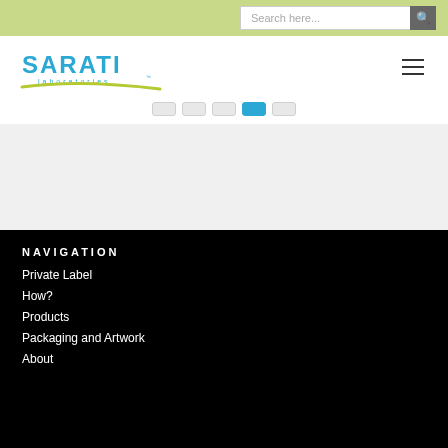Search here...
[Figure (logo): Sarati Laboratories logo with blue text and green swoosh underline]
[Figure (other): Slideshow pagination dots, with the 4th dot highlighted in blue]
NAVIGATION
Private Label
How?
Products
Packaging and Artwork
About